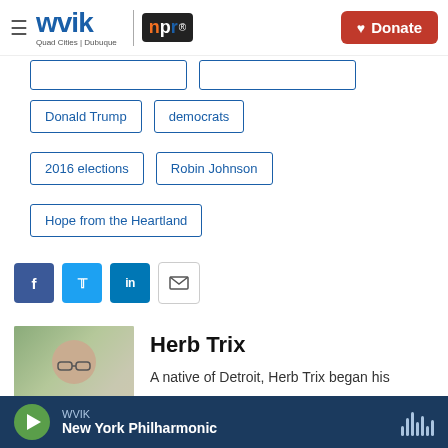WVIK | NPR | Quad Cities | Dubuque — Donate
Donald Trump
democrats
2016 elections
Robin Johnson
Hope from the Heartland
[Figure (other): Social sharing buttons: Facebook, Twitter, LinkedIn, Email]
[Figure (photo): Portrait photo of Herb Trix, a middle-aged man with glasses and a white shirt, smiling]
Herb Trix
A native of Detroit, Herb Trix began his
WVIK — New York Philharmonic